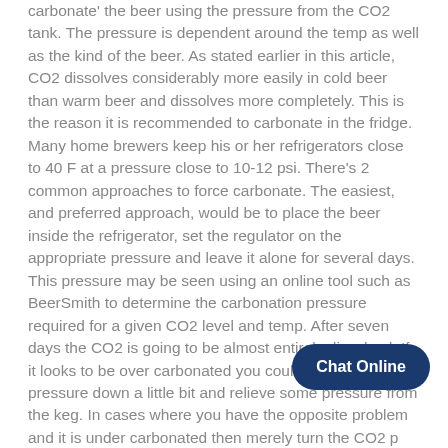carbonate' the beer using the pressure from the CO2 tank. The pressure is dependent around the temp as well as the kind of the beer. As stated earlier in this article, CO2 dissolves considerably more easily in cold beer than warm beer and dissolves more completely. This is the reason it is recommended to carbonate in the fridge. Many home brewers keep his or her refrigerators close to 40 F at a pressure close to 10-12 psi. There's 2 common approaches to force carbonate. The easiest, and preferred approach, would be to place the beer inside the refrigerator, set the regulator on the appropriate pressure and leave it alone for several days. This pressure may be seen using an online tool such as BeerSmith to determine the carbonation pressure required for a given CO2 level and temp. After seven days the CO2 is going to be almost entirely dissolved. If it looks to be over carbonated you could turn the CO2 pressure down a little bit and relieve some pressure from the keg. In cases where you have the opposite problem and it is under carbonated then merely turn the CO2 p somewhat and/or allow it to sit for a 3-4 additional days. For anyone
[Figure (other): Chat Online button overlay in dark navy blue rounded rectangle]